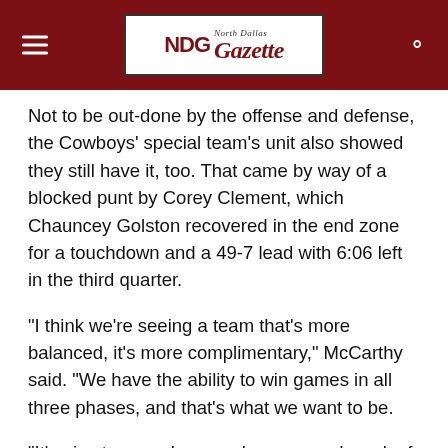North Dallas Gazette – NDG header with hamburger menu and search icon
Not to be out-done by the offense and defense, the Cowboys' special team's unit also showed they still have it, too. That came by way of a blocked punt by Corey Clement, which Chauncey Golston recovered in the end zone for a touchdown and a 49-7 lead with 6:06 left in the third quarter.
“I think we’re seeing a team that’s more balanced, it’s more complimentary,” McCarthy said. “We have the ability to win games in all three phases, and that’s what we want to be.
“It’s nice to see when you have a good week of preparation and you go out and have a nice performance. I just think we’re in-tuned with the momentum that you need to build and the confidence you need to build in